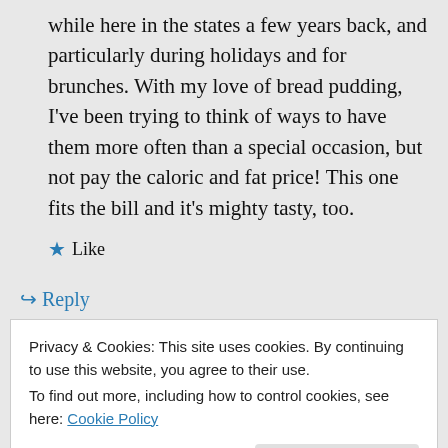while here in the states a few years back, and particularly during holidays and for brunches. With my love of bread pudding, I've been trying to think of ways to have them more often than a special occasion, but not pay the caloric and fat price! This one fits the bill and it's mighty tasty, too.
★ Like
↪ Reply
Privacy & Cookies: This site uses cookies. By continuing to use this website, you agree to their use. To find out more, including how to control cookies, see here: Cookie Policy
Close and accept